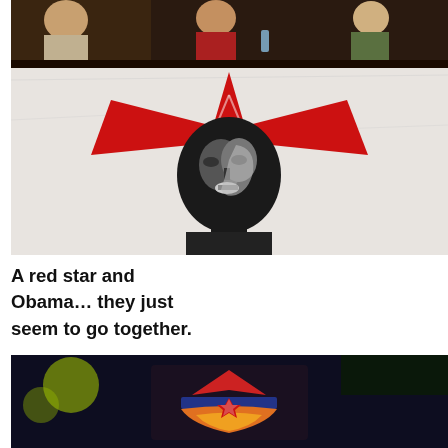[Figure (photo): Two stacked photos: top shows three people seated behind a white banner/flag featuring a red star design and a stylized portrait of Obama in black and grey tones. The flag has a large red star with wing-like shapes and a face resembling Obama printed on white fabric. Above the flag, three people are visible: a man on the left, a woman in red in the center, and a person on the right wearing glasses.]
A red star and Obama… they just seem to go together.
[Figure (photo): Bottom photo shows a person from behind with a tattoo on their upper back/neck area featuring a colorful design with chevron/star shapes in red, blue, orange and yellow tones, on a dark blurred background with yellow bokeh lights.]